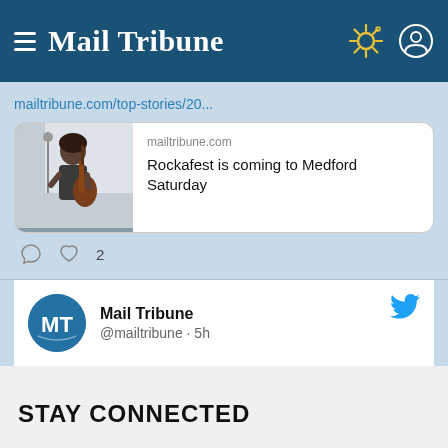Mail Tribune
mailtribune.com/top-stories/20...
[Figure (screenshot): Article preview card showing a guitarist with text: mailtribune.com / Rockafest is coming to Medford Saturday]
Mail Tribune @mailtribune · 5h
STAY CONNECTED
By continuing on this site, you agree to our Privacy Policy.